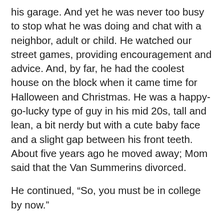his garage. And yet he was never too busy to stop what he was doing and chat with a neighbor, adult or child. He watched our street games, providing encouragement and advice. And, by far, he had the coolest house on the block when it came time for Halloween and Christmas. He was a happy-go-lucky type of guy in his mid 20s, tall and lean, a bit nerdy but with a cute baby face and a slight gap between his front teeth. About five years ago he moved away; Mom said that the Van Summerins divorced.
He continued, “So, you must be in college by now.”
“Yep, I’m a sophomore at State.” I paused, “How have you been? We miss you around the neighborhood. The kids don’t know what to do when their bikes gets flat tires.”
Austin smiled and said, “I miss the old neighborhood, too. I moved into a condo on the golf course. Great view, but I miss my garage.” Austin looked me over and continued,